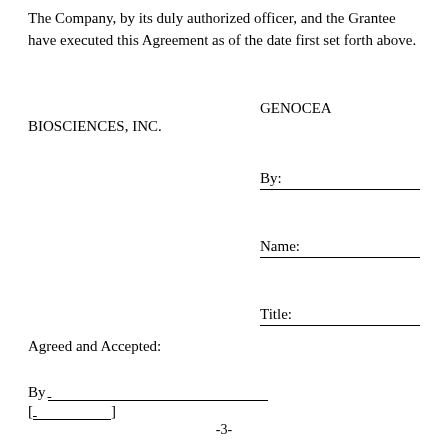The Company, by its duly authorized officer, and the Grantee have executed this Agreement as of the date first set forth above.
BIOSCIENCES, INC.
GENOCEA
By:
Name:
Title:
Agreed and Accepted:
By__________________________________
[__________]
-3-